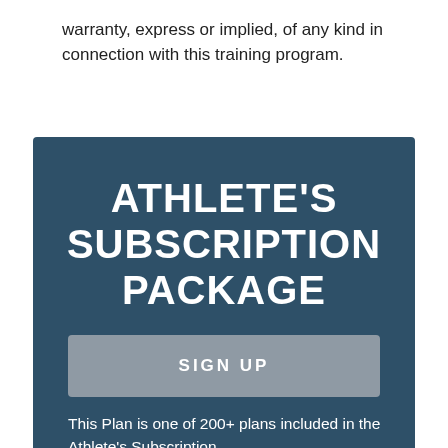warranty, express or implied, of any kind in connection with this training program.
ATHLETE'S SUBSCRIPTION PACKAGE
SIGN UP
This Plan is one of 200+ plans included in the Athlete's Subscription.